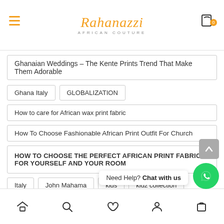Rahanazzi African Couture
Ghanaian Weddings – The Kente Prints Trend That Make Them Adorable
Ghana Italy
GLOBALIZATION
How to care for African wax print fabric
How To Choose Fashionable African Print Outfit For Church
HOW TO CHOOSE THE PERFECT AFRICAN PRINT FABRIC FOR YOURSELF AND YOUR ROOM
Italy
John Mahama
kids
kidz collection
Let's raid into Kofi Kinaata's wardrobe for style inspiration
Need Help? Chat with us
Home | Search | Wishlist | Account | Bag